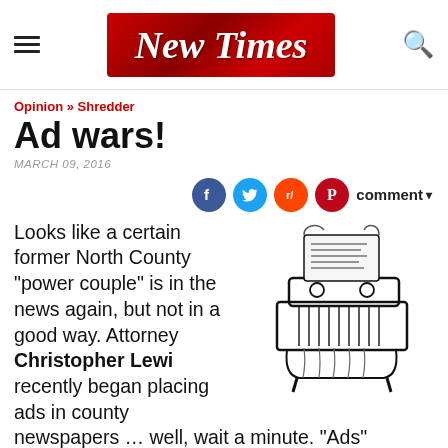New Times
Opinion » Shredder
Ad wars!
MARCH 09, 2016
[Figure (illustration): Black and white illustration of a paper shredder machine with paper being fed into the top]
Looks like a certain former North County "power couple" is in the news again, but not in a good way. Attorney Christopher Lewi recently began placing ads in county newspapers … well, wait a minute. "Ads"